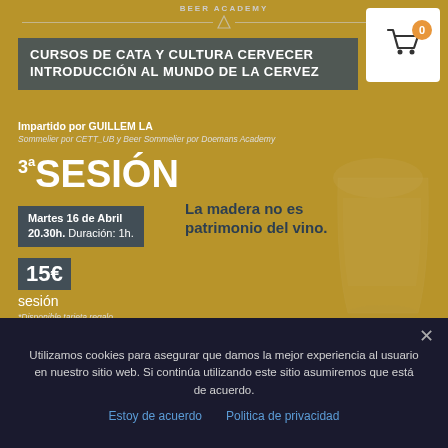BEER ACADEMY
CURSOS DE CATA Y CULTURA CERVECERA INTRODUCCIÓN AL MUNDO DE LA CERVEZA
Impartido por GUILLEM LA... Sommelier por CETT_UB y Beer Sommelier por Doemans Academy
3ª SESIÓN
Martes 16 de Abril 20.30h. Duración: 1h.
La madera no es patrimonio del vino.
15€ sesión
*Disponible tarjeta regalo
Utilizamos cookies para asegurar que damos la mejor experiencia al usuario en nuestro sitio web. Si continúa utilizando este sitio asumiremos que está de acuerdo.
Estoy de acuerdo    Politica de privacidad